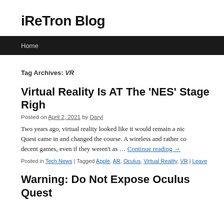iReTron Blog
Home
Tag Archives: VR
Virtual Reality Is AT The ‘NES’ Stage Righ…
Posted on April 2, 2021 by Daryl
Two years ago, virtual reality looked like it would remain a nich… Quest came in and changed the course. A wireless and rather co… decent games, even if they weren’t as … Continue reading →
Posted in Tech News | Tagged Apple, AR, Oculus, Virtual Reality, VR | Leave…
Warning: Do Not Expose Oculus Quest…